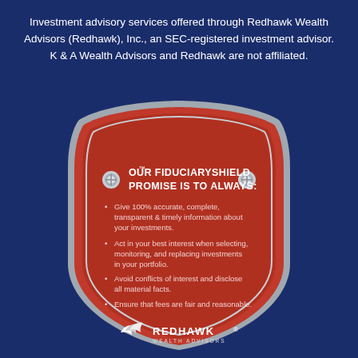Investment advisory services offered through Redhawk Wealth Advisors (Redhawk), Inc., an SEC-registered investment advisor. K & A Wealth Advisors and Redhawk are not affiliated.
[Figure (infographic): Red shield shape with silver border containing the FiduciaryShield promise text and bullet points, with Redhawk Wealth Advisors logo at bottom. Title reads 'OUR FIDUCIARYSHIELD PROMISE IS TO ALWAYS:' followed by four bullet points about fiduciary duties.]